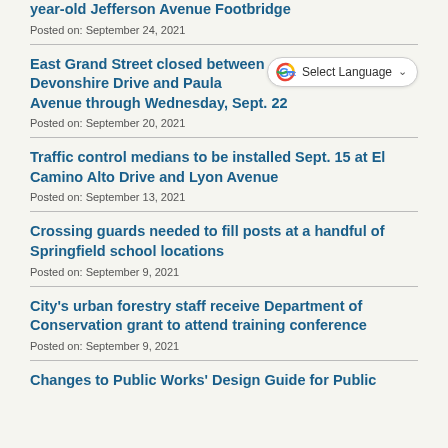year-old Jefferson Avenue Footbridge
Posted on: September 24, 2021
East Grand Street closed between Devonshire Drive and Paula Avenue through Wednesday, Sept. 22
Posted on: September 20, 2021
[Figure (other): Google Translate widget with 'Select Language' dropdown]
Traffic control medians to be installed Sept. 15 at El Camino Alto Drive and Lyon Avenue
Posted on: September 13, 2021
Crossing guards needed to fill posts at a handful of Springfield school locations
Posted on: September 9, 2021
City's urban forestry staff receive Department of Conservation grant to attend training conference
Posted on: September 9, 2021
Changes to Public Works' Design Guide for Public